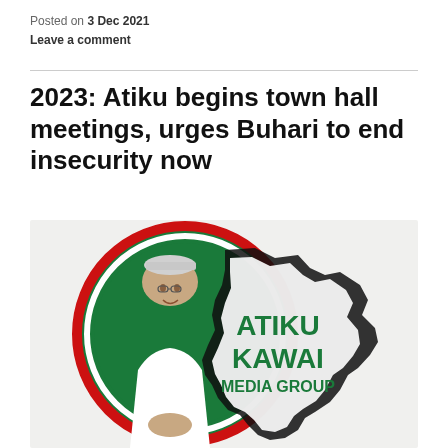Posted on 3 Dec 2021
Leave a comment
2023: Atiku begins town hall meetings, urges Buhari to end insecurity now
[Figure (photo): Atiku Kawai Media Group promotional image showing a man in traditional Nigerian attire smiling, set against a circular green and red logo with the outline of Nigeria and the text ATIKU KAWAI MEDIA GROUP]